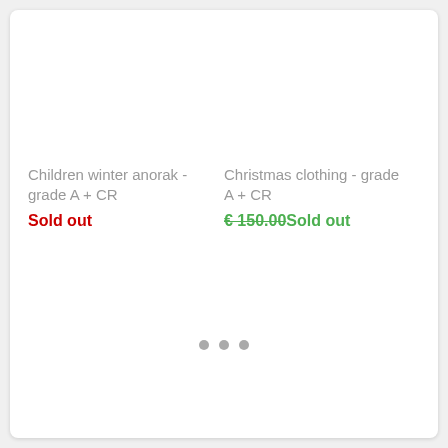Children winter anorak - grade A + CR
Sold out
Christmas clothing - grade A + CR
€ 150.00 Sold out